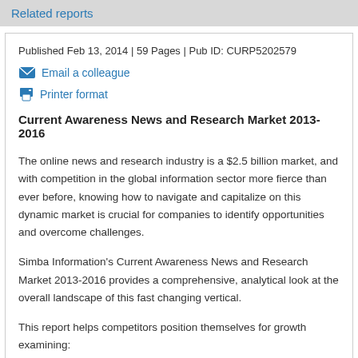Related reports
Published Feb 13, 2014 | 59 Pages | Pub ID: CURP5202579
Email a colleague
Printer format
Current Awareness News and Research Market 2013-2016
The online news and research industry is a $2.5 billion market, and with competition in the global information sector more fierce than ever before, knowing how to navigate and capitalize on this dynamic market is crucial for companies to identify opportunities and overcome challenges.
Simba Information's Current Awareness News and Research Market 2013-2016 provides a comprehensive, analytical look at the overall landscape of this fast changing vertical.
This report helps competitors position themselves for growth examining: